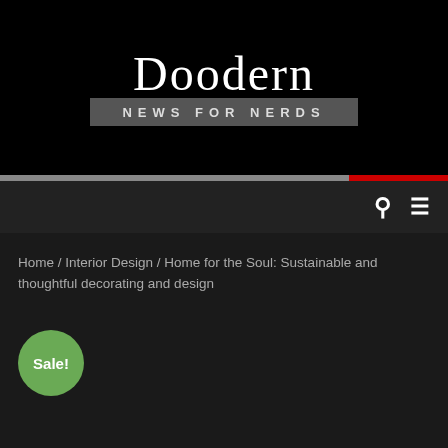Doodern
NEWS FOR NERDS
Home / Interior Design / Home for the Soul: Sustainable and thoughtful decorating and design
[Figure (other): Green circular Sale! badge]
[Figure (other): Red scroll-to-top button with upward chevron arrow, overlapping a grey circle]